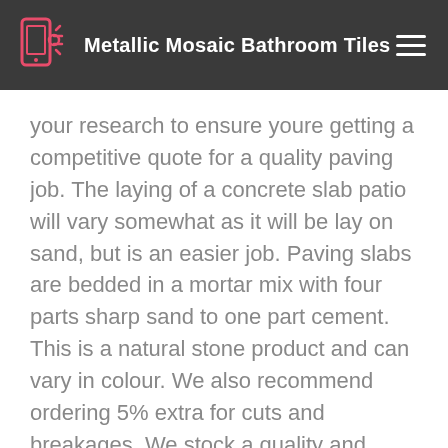Metallic Mosaic Bathroom Tiles
your research to ensure youre getting a competitive quote for a quality paving job. The laying of a concrete slab patio will vary somewhat as it will be lay on sand, but is an easier job. Paving slabs are bedded in a mortar mix with four parts sharp sand to one part cement. This is a natural stone product and can vary in colour. We also recommend ordering 5% extra for cuts and breakages. We stock a quality and varied range of stone products and are experts in granite, limestone and marble products. We supply premium quality stone and you can rest assured that the work we complete is second to none. It is impervious to heat, frost, UV light, acid and abrasion. Granite products are available for almost any part of your landscaping project where you